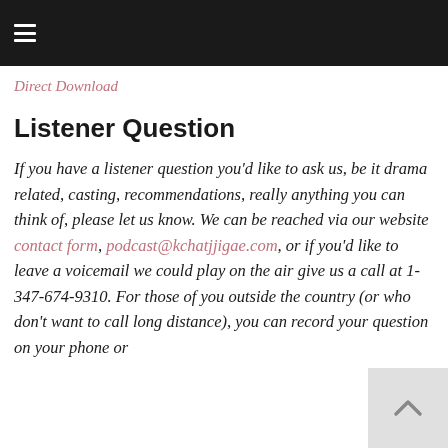≡
Direct Download
Listener Question
If you have a listener question you'd like to ask us, be it drama related, casting, recommendations, really anything you can think of, please let us know. We can be reached via our website contact form, podcast@kchatjjigae.com, or if you'd like to leave a voicemail we could play on the air give us a call at 1-347-674-9310. For those of you outside the country (or who don't want to call long distance), you can record your question on your phone or